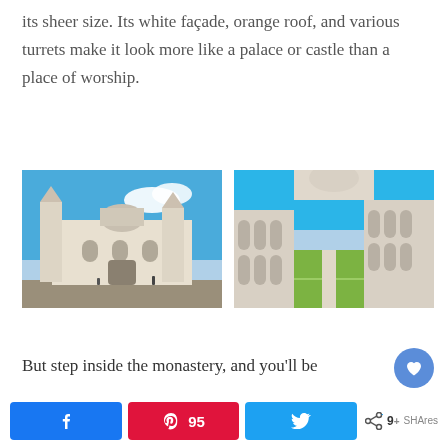its sheer size. Its white façade, orange roof, and various turrets make it look more like a palace or castle than a place of worship.
[Figure (photo): Exterior view of a large ornate monastery with white stone facade, turrets, and dome against blue sky]
[Figure (photo): Interior courtyard of a monastery with arched colonnades, ornate stone carvings, and manicured gardens]
But step inside the monastery, and you'll be